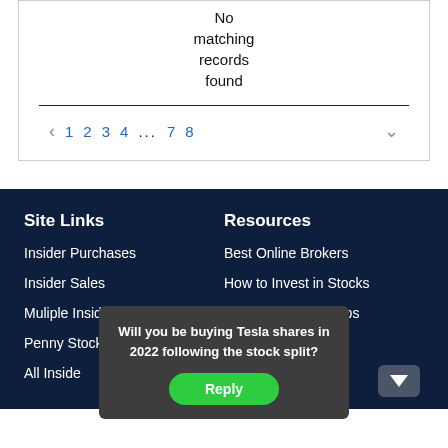No matching records found
1 2 3 4 ... 7 8
Site Links
Resources
Insider Purchases
Best Online Brokers
Insider Sales
How to Invest in Stocks
Muliple Insider Buys
Best Investment Apps
Penny Stock Buys
All Inside
Will you be buying Tesla shares in 2022 following the stock split?
Reply